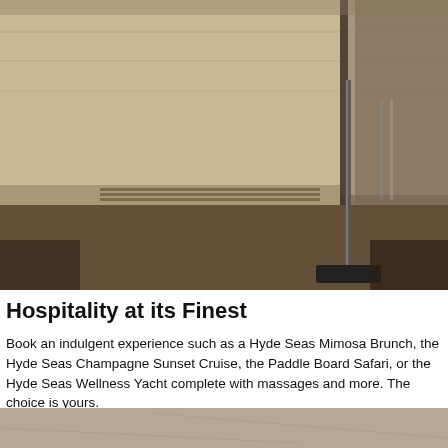[Figure (photo): Interior photo showing a beige/tan upholstered seating area or wall panel with dark metal railing/post fixture on a brown floor, taken in a dim interior space.]
Hospitality at its Finest
Book an indulgent experience such as a Hyde Seas Mimosa Brunch, the Hyde Seas Champagne Sunset Cruise, the Paddle Board Safari, or the Hyde Seas Wellness Yacht complete with massages and more. The choice is yours.
[Figure (photo): Partial bottom photo showing a brown/tan surface, likely a floor or deck.]